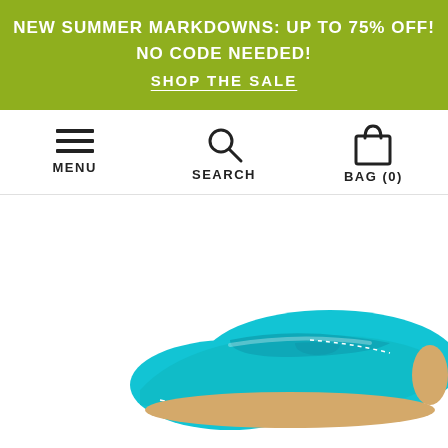NEW SUMMER MARKDOWNS: UP TO 75% OFF! NO CODE NEEDED! SHOP THE SALE
[Figure (screenshot): Navigation bar with MENU (hamburger icon), SEARCH (magnifier icon), and BAG (0) (shopping bag icon)]
[Figure (photo): Close-up photo of a turquoise/cyan suede moccasin loafer shoe on white background]